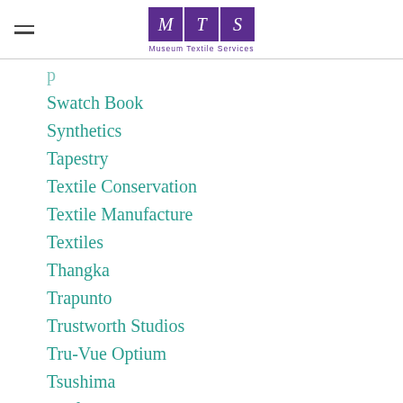[Figure (logo): Museum Textile Services logo with MTS letters in purple boxes and text below]
Swatch Book
Synthetics
Tapestry
Textile Conservation
Textile Manufacture
Textiles
Thangka
Trapunto
Trustworth Studios
Tru-Vue Optium
Tsushima
Uniform
Uniforms
Union Railroad Station
Velour
Versailles
Vietnam War